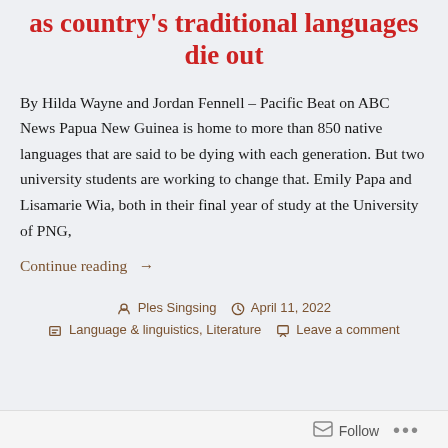as country's traditional languages die out
By Hilda Wayne and Jordan Fennell – Pacific Beat on ABC News Papua New Guinea is home to more than 850 native languages that are said to be dying with each generation. But two university students are working to change that. Emily Papa and Lisamarie Wia, both in their final year of study at the University of PNG,
Continue reading →
Ples Singsing   April 11, 2022   Language & linguistics, Literature   Leave a comment
Follow …